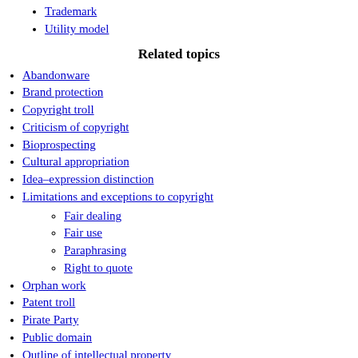Trademark
Utility model
Related topics
Abandonware
Brand protection
Copyright troll
Criticism of copyright
Bioprospecting
Cultural appropriation
Idea–expression distinction
Limitations and exceptions to copyright
Fair dealing
Fair use
Paraphrasing
Right to quote
Orphan work
Patent troll
Pirate Party
Public domain
Outline of intellectual property
Outline of patents
Higher categories: